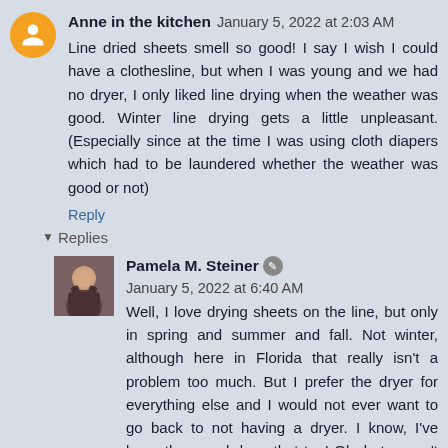Anne in the kitchen  January 5, 2022 at 2:03 AM
Line dried sheets smell so good! I say I wish I could have a clothesline, but when I was young and we had no dryer, I only liked line drying when the weather was good. Winter line drying gets a little unpleasant.(Especially since at the time I was using cloth diapers which had to be laundered whether the weather was good or not)
Reply
Replies
Pamela M. Steiner  January 5, 2022 at 6:40 AM
Well, I love drying sheets on the line, but only in spring and summer and fall. Not winter, although here in Florida that really isn't a problem too much. But I prefer the dryer for everything else and I would not ever want to go back to not having a dryer. I know, I've been there and done that too! Oh, but weren't cloth diapers so nice on